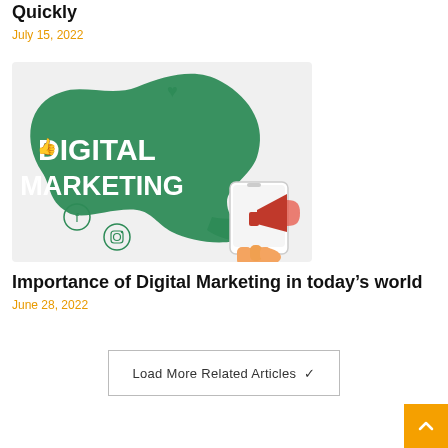Quickly
July 15, 2022
[Figure (illustration): Digital Marketing illustration with a green speech bubble shape containing bold white text 'DIGITAL MARKETING', social media icons (thumbs up, heart, Facebook, Instagram), and a smartphone with a red megaphone]
Importance of Digital Marketing in today's world
June 28, 2022
Load More Related Articles ∨